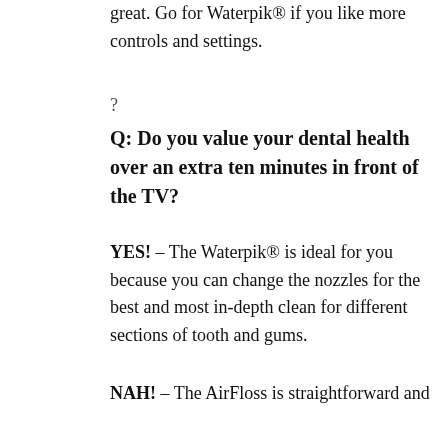great. Go for Waterpik® if you like more controls and settings.
?
Q: Do you value your dental health over an extra ten minutes in front of the TV?
YES! – The Waterpik® is ideal for you because you can change the nozzles for the best and most in-depth clean for different sections of tooth and gums.
NAH! – The AirFloss is straightforward and